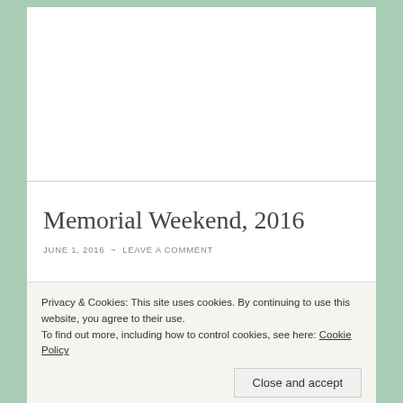Memorial Weekend, 2016
JUNE 1, 2016 ~ LEAVE A COMMENT
Remembering my daddy today & those families who have served, those families who have lost, and those who continue courageous service and
Privacy & Cookies: This site uses cookies. By continuing to use this website, you agree to their use.
To find out more, including how to control cookies, see here: Cookie Policy
Close and accept
package from a fellow navy crewman, who